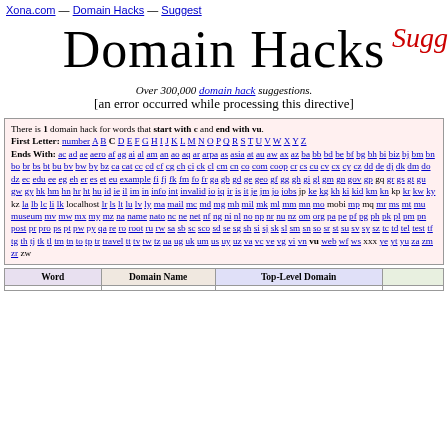Xona.com — Domain Hacks — Suggest
Domain Hacks
Over 300,000 domain hack suggestions.
[an error occurred while processing this directive]
There is 1 domain hack for words that start with c and end with vu.
First Letter: number A B C D E F G H I J K L M N O P Q R S T U V W X Y Z
Ends With: ac ad ae aero af ag ai al am an ao aq ar arpa as asia at au aw ax az ba bb bd be bf bg bh bi biz bj bm bn bo br bs bt bu bv bw by bz ca cat cc cd cf cg ch ci ck cl cm cn co com coop cr cs cu cv cx cy cz dd de dj dk dm do dz ec edu ee eg eh er es et eu example fi fj fk fm fo fr ga gb gd ge geo gf gg gh gi gl gm gn gov gp gq gr gs gt gu gw gy hk hm hn hr ht hu id ie il im in info int invalid io iq ir is it je jm jo jobs jp ke kg kh ki kid km kn kp kr kw ky kz la lb lc li lk localhost lr ls lt lu lv ly ma mail mc md mg mh mil mk ml mm mn mo mobi mp mq mr ms mt mu museum mv mw mx my mz na name nato nc ne net nf ng ni nl no np nr nu nz om org pa pe pf pg ph pk pl pm pn post pr pro ps pt pw py qa re ro root ru rw sa sb sc sco sd se sg sh si sj sk sl sm sn so sr st su sv sy sz tc td tel test tf tg th tj tk tl tm tn to tp tr travel tt tv tw tz ua ug uk um us uy uz va vc ve vg vi vn vu web wf ws xxx ye yt yu za zm zr zw
| Word | Domain Name | Top-Level Domain |  |
| --- | --- | --- | --- |